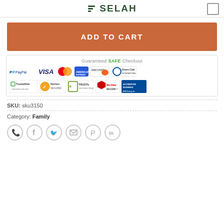SELAH
ADD TO CART
[Figure (infographic): Guaranteed SAFE Checkout banner with payment logos: PayPal, VISA, Mastercard, American Express, Discover, Diners Club International, and security badges: TrustedSite Certified Secure, Norton Secured, TRUSTe Certified Privacy, McAfee Secure, BBB Accredited Business BBB Rating: A+]
SKU: sku3150
Category: Family
[Figure (infographic): Social sharing icons row: WhatsApp, Facebook, Twitter, Email, Pinterest, LinkedIn]